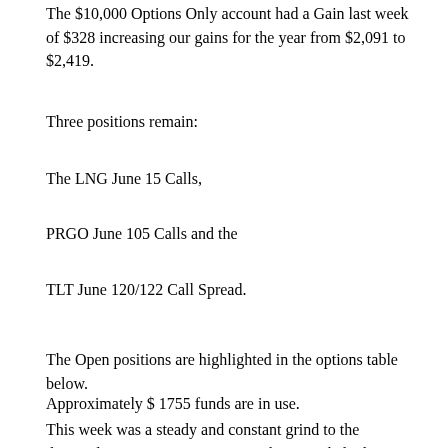The $10,000 Options Only account had a Gain last week of $328 increasing our gains for the year from $2,091 to $2,419.
Three positions remain:
The LNG June 15 Calls,
PRGO June 105 Calls and the
TLT June 120/122 Call Spread.
The Open positions are highlighted in the options table below.
Approximately $ 1755 funds are in use.
This week was a steady and constant grind to the downside.  I was expecting to see the move halted near the measured move of my “BEAR FLAG” (SPY 130.14) and sold